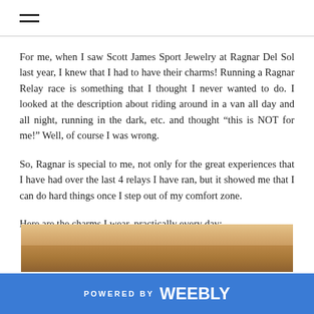For me, when I saw Scott James Sport Jewelry at Ragnar Del Sol last year, I knew that I had to have their charms! Running a Ragnar Relay race is something that I thought I never wanted to do. I looked at the description about riding around in a van all day and all night, running in the dark, etc. and thought “this is NOT for me!” Well, of course I was wrong.
So, Ragnar is special to me, not only for the great experiences that I have had over the last 4 relays I have ran, but it showed me that I can do hard things once I step out of my comfort zone.
Here are the charms I wear, practically every day:
[Figure (photo): Close-up photo of a woman with blonde hair, showing the lower part of her face and neck area, appearing to wear jewelry.]
POWERED BY weebly